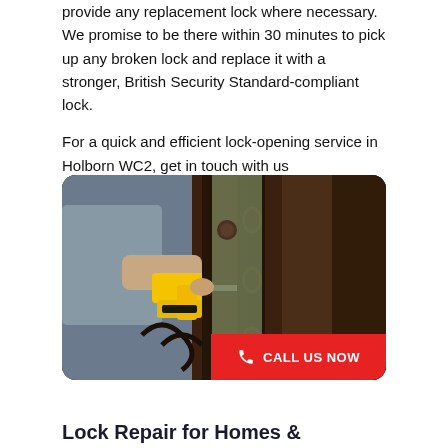provide any replacement lock where necessary. We promise to be there within 30 minutes to pick up any broken lock and replace it with a stronger, British Security Standard-compliant lock.

For a quick and efficient lock-opening service in Holborn WC2, get in touch with us
[Figure (photo): A locksmith using a yellow power drill to work on a dark ornate iron gate/door with decorative spindles, person wearing grey t-shirt]
CALL US NOW
Lock Repair for Homes &